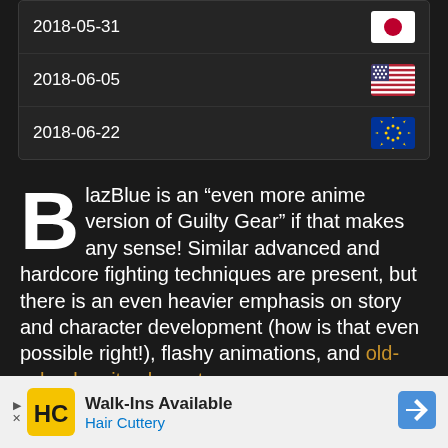| Date | Region |
| --- | --- |
| 2018-05-31 | [Japan flag] |
| 2018-06-05 | [US flag] |
| 2018-06-22 | [EU flag] |
BlazBlue is an “even more anime version of Guilty Gear” if that makes any sense! Similar advanced and hardcore fighting techniques are present, but there is an even heavier emphasis on story and character development (how is that even possible right!), flashy animations, and old-school sprite characters.
Both franchises are the self-developed &
[Figure (infographic): Advertisement banner for Hair Cuttery: Walk-Ins Available, Hair Cuttery, with HC logo and direction arrow icon]